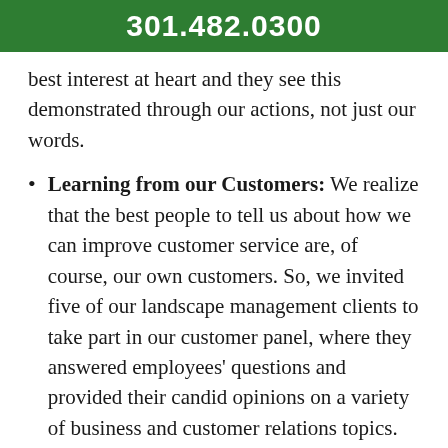301.482.0300
best interest at heart and they see this demonstrated through our actions, not just our words.
Learning from our Customers: We realize that the best people to tell us about how we can improve customer service are, of course, our own customers. So, we invited five of our landscape management clients to take part in our customer panel, where they answered employees' questions and provided their candid opinions on a variety of business and customer relations topics. We hope that the lessons learned in this session will give us a new perspective and help position us to